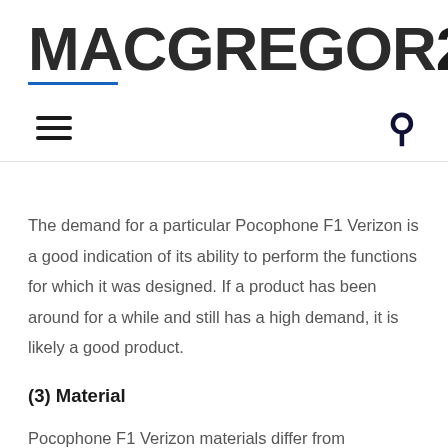[Figure (logo): MACGREGOR26 logo with blue underline beneath MAC portion]
Navigation bar with hamburger menu icon and search icon
The demand for a particular Pocophone F1 Verizon is a good indication of its ability to perform the functions for which it was designed. If a product has been around for a while and still has a high demand, it is likely a good product.
(3) Material
Pocophone F1 Verizon materials differ from